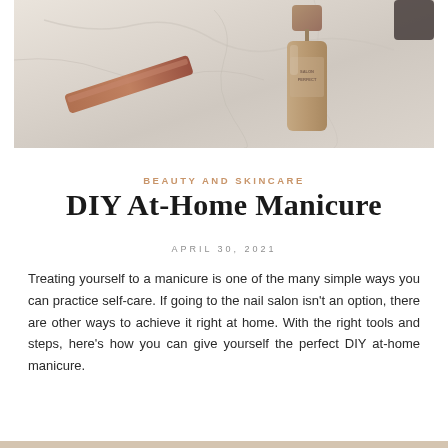[Figure (photo): Flatlay photo on marble surface showing a nail polish bottle (nude/beige color) and a rose gold nail file/clipper tool]
BEAUTY AND SKINCARE
DIY At-Home Manicure
APRIL 30, 2021
Treating yourself to a manicure is one of the many simple ways you can practice self-care. If going to the nail salon isn't an option, there are other ways to achieve it right at home. With the right tools and steps, here's how you can give yourself the perfect DIY at-home manicure.